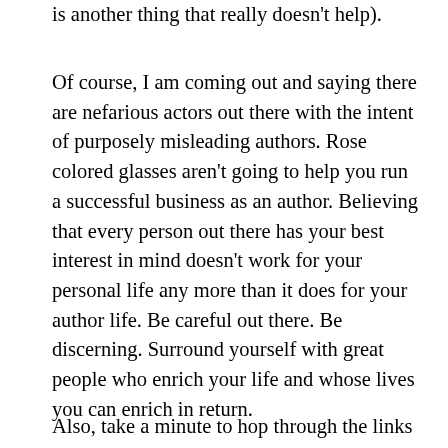is another thing that really doesn't help).
Of course, I am coming out and saying there are nefarious actors out there with the intent of purposely misleading authors. Rose colored glasses aren't going to help you run a successful business as an author. Believing that every person out there has your best interest in mind doesn't work for your personal life any more than it does for your author life. Be careful out there. Be discerning. Surround yourself with great people who enrich your life and whose lives you can enrich in return.
Also, take a minute to hop through the links